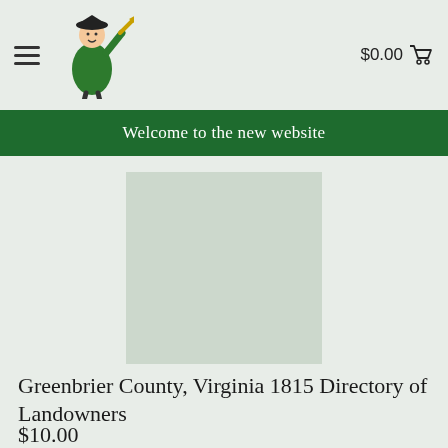$0.00
Welcome to the new website
[Figure (illustration): Light gray/green rectangle placeholder representing a book cover image]
Greenbrier County, Virginia 1815 Directory of Landowners
$10.00